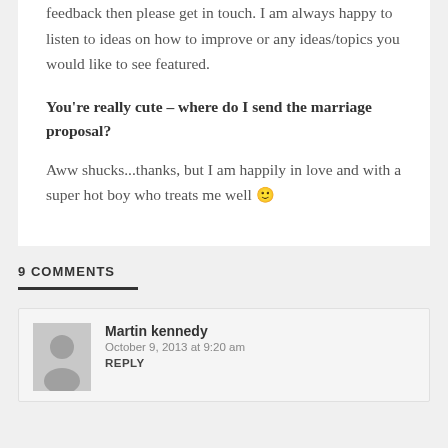more generally about the site and tell me your feedback then please get in touch. I am always happy to listen to ideas on how to improve or any ideas/topics you would like to see featured.
You’re really cute – where do I send the marriage proposal?
Aww shucks...thanks, but I am happily in love and with a super hot boy who treats me well 😊
9 COMMENTS
Martin kennedy
October 9, 2013 at 9:20 am
REPLY